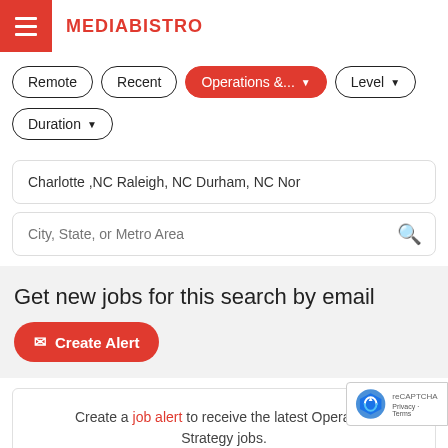MEDIABISTRO
Remote
Recent
Operations &... (active/selected)
Level
Duration
Charlotte ,NC Raleigh, NC Durham, NC Nor‌
City, State, or Metro Area
Get new jobs for this search by email
Create Alert
Create a job alert to receive the latest Operations & Strategy jobs.